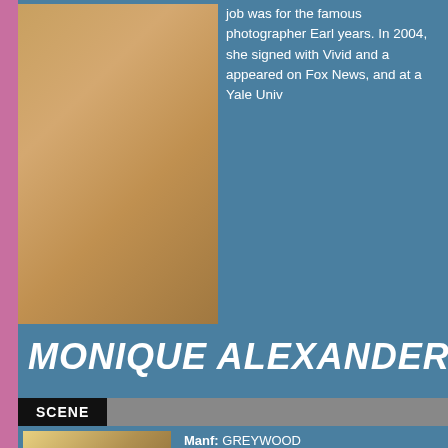[Figure (photo): Partial photo of a woman with blonde hair]
job was for the famous photographer Earl years. In 2004, she signed with Vivid and a appeared on Fox News, and at a Yale Univ
MONIQUE ALEXANDER SCE
| SCENE |  |
| --- | --- |
[Figure (photo): Two women posing together — one blonde, one brunette]
VIEW GIRLS
Manf: GREYWOOD
Stars: Monique, Samantha
Desc: Kissing Scenes With Partial Nudity

Hi everyone. Quite a few of you had ask that we have M another KissMe Girl scene. I have to say that Monique i Samantha, they've known one another for a while and r have to admit that I've never been a big tatoo fan but Me nice to see a reminder of Monique's perfect breasts and kissing mixed in along with tongue sucking and s